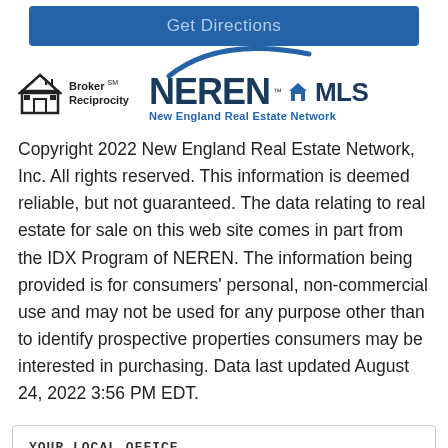Get Directions
[Figure (logo): Broker Reciprocity logo with house icon and text]
[Figure (logo): NEREN MLS New England Real Estate Network logo with blue swoosh]
Copyright 2022 New England Real Estate Network, Inc. All rights reserved. This information is deemed reliable, but not guaranteed. The data relating to real estate for sale on this web site comes in part from the IDX Program of NEREN. The information being provided is for consumers' personal, non-commercial use and may not be used for any purpose other than to identify prospective properties consumers may be interested in purchasing. Data last updated August 24, 2022 3:56 PM EDT.
YOUR LOCAL OFFICE
[Figure (logo): Peloquin logo in white italic text on blue background]